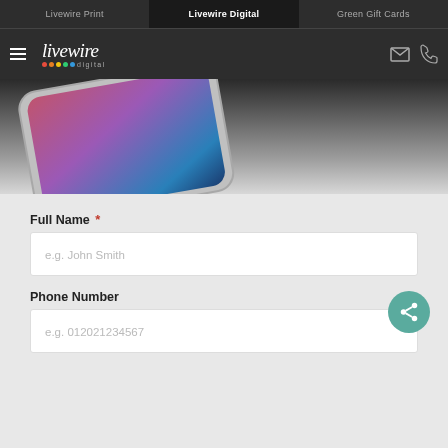Livewire Print | Livewire Digital | Green Gift Cards
[Figure (screenshot): Livewire Digital website header with logo, hamburger menu, email and phone icons, and a hero image showing a smartphone viewed from the corner with a colorful gradient display screen]
Full Name *
e.g. John Smith
Phone Number
e.g. 012021234567